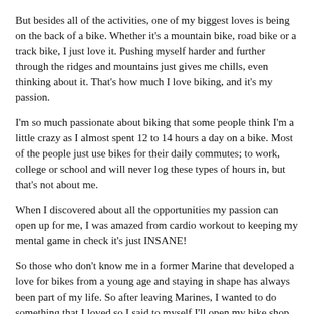But besides all of the activities, one of my biggest loves is being on the back of a bike. Whether it's a mountain bike, road bike or a track bike, I just love it. Pushing myself harder and further through the ridges and mountains just gives me chills, even thinking about it. That's how much I love biking, and it's my passion.
I'm so much passionate about biking that some people think I'm a little crazy as I almost spent 12 to 14 hours a day on a bike. Most of the people just use bikes for their daily commutes; to work, college or school and will never log these types of hours in, but that's not about me.
When I discovered about all the opportunities my passion can open up for me, I was amazed from cardio workout to keeping my mental game in check it's just INSANE!
So those who don't know me in a former Marine that developed a love for bikes from a young age and staying in shape has always been part of my life. So after leaving Marines, I wanted to do something that I loved so I said to myself I'll open my bike shop with a focus on fitness and will encourage people to get out of their homes and enjoy outdoors.
After opening my shop in Riverside, California, I saw amazing growth in business, but that was not all to it. I wanted to do more it